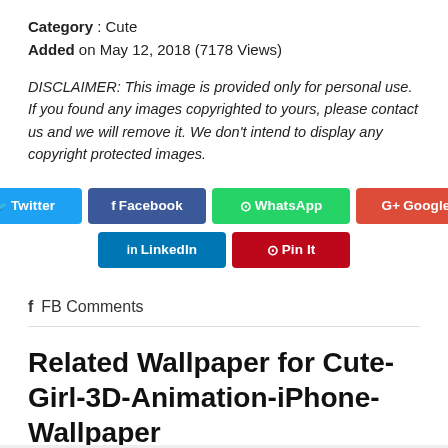Category : Cute
Added on May 12, 2018 (7178 Views)
DISCLAIMER: This image is provided only for personal use. If you found any images copyrighted to yours, please contact us and we will remove it. We don't intend to display any copyright protected images.
[Figure (other): Social share buttons: Twitter, Facebook, WhatsApp, Google+, LinkedIn, Pin It]
FB Comments
Related Wallpaper for Cute-Girl-3D-Animation-iPhone-Wallpaper